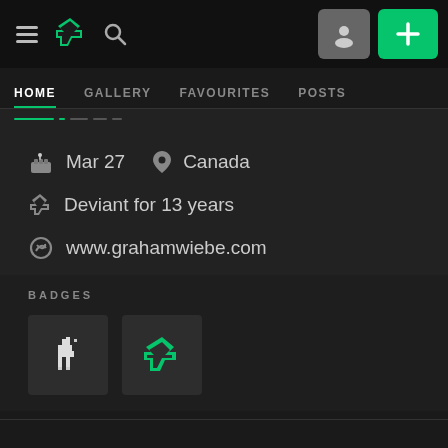DeviantArt navigation bar with hamburger menu, DA logo, search icon, user icon button, and + add button
HOME  GALLERY  FAVOURITES  POSTS
Mar 27   Canada
Deviant for 13 years
www.grahamwiebe.com
BADGES
[Figure (other): Two badge icons: a llama badge (white llama pixel art on dark background) and a DeviantArt badge (green DA lightning bolt logo on dark background)]